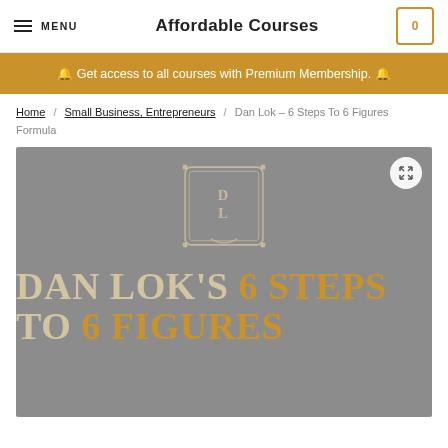MENU  |  Affordable Courses  |  Cart: 0
🔔 Get access to all courses with Premium Membership. 🔔
Home / Small Business, Entrepreneurs / Dan Lok – 6 Steps To 6 Figures Formula
[Figure (photo): Dan Lok's 6 Steps to 6 Figures course product image with DL emblem logo and large serif text reading 'DAN LOK'S 6 STEPS TO 6 FIGURES' on gray background]